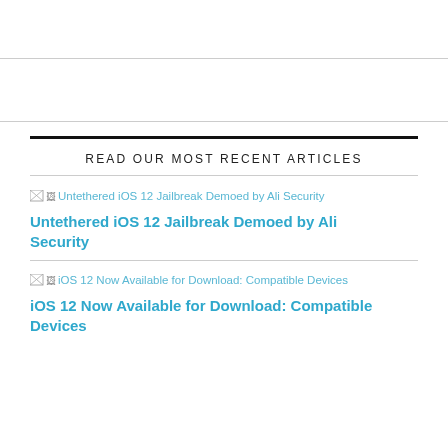READ OUR MOST RECENT ARTICLES
[Figure (screenshot): Broken image placeholder with alt text: Untethered iOS 12 Jailbreak Demoed by Ali Security]
Untethered iOS 12 Jailbreak Demoed by Ali Security
[Figure (screenshot): Broken image placeholder with alt text: iOS 12 Now Available for Download: Compatible Devices]
iOS 12 Now Available for Download: Compatible Devices